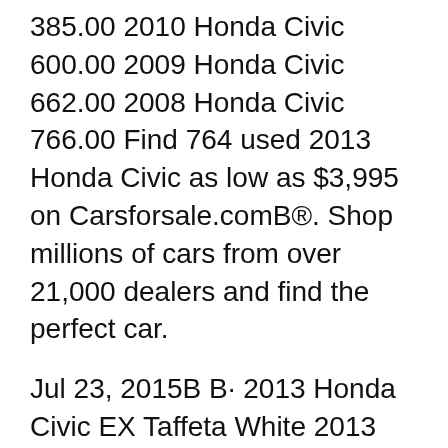385.00 2010 Honda Civic 600.00 2009 Honda Civic 662.00 2008 Honda Civic 766.00 Find 764 used 2013 Honda Civic as low as $3,995 on Carsforsale.comB®. Shop millions of cars from over 21,000 dealers and find the perfect car.
Jul 23, 2015B B· 2013 Honda Civic EX Taffeta White 2013 Honda Civic EX FWD 5-Speed Manual 1.8L I4 SOHC 16V i-VTEC Black Cloth. Reviews: * Owners say Civic is maneuverable, comfortable and relatively solid to drive, though the driving experience isnt the primary reason most shoppers pick a вђ¦ Here are the top Honda Civic Si for Sale ASAP. Here are the top Honda Civic Si for Sale When